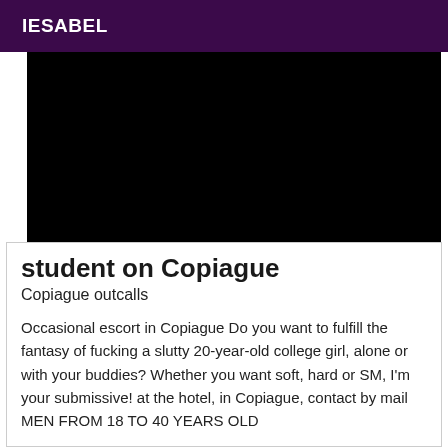IESABEL
[Figure (photo): Black image placeholder representing a photo]
student on Copiague
Copiague outcalls
Occasional escort in Copiague Do you want to fulfill the fantasy of fucking a slutty 20-year-old college girl, alone or with your buddies? Whether you want soft, hard or SM, I'm your submissive! at the hotel, in Copiague, contact by mail MEN FROM 18 TO 40 YEARS OLD
Online